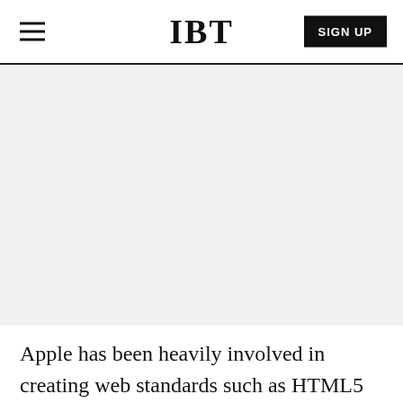IBT
[Figure (other): Gray placeholder advertisement area]
Apple has been heavily involved in creating web standards such as HTML5 in the past. For three-dimensional content in the metaverse, Apple